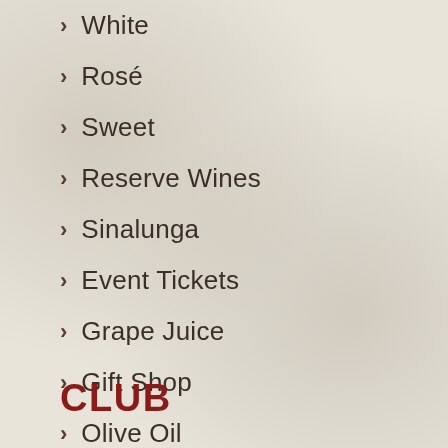White
Rosé
Sweet
Reserve Wines
Sinalunga
Event Tickets
Grape Juice
Gift Shop
Olive Oil
CLUB